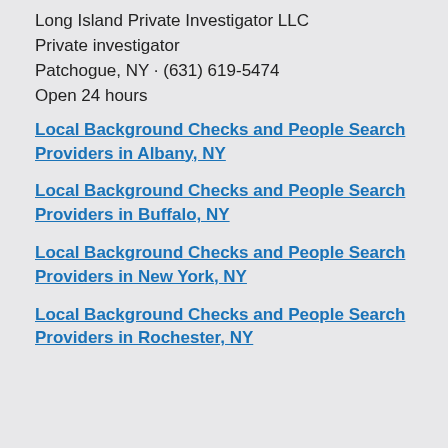Long Island Private Investigator LLC
Private investigator
Patchogue, NY · (631) 619-5474
Open 24 hours
Local Background Checks and People Search Providers in Albany, NY
Local Background Checks and People Search Providers in Buffalo, NY
Local Background Checks and People Search Providers in New York, NY
Local Background Checks and People Search Providers in Rochester, NY